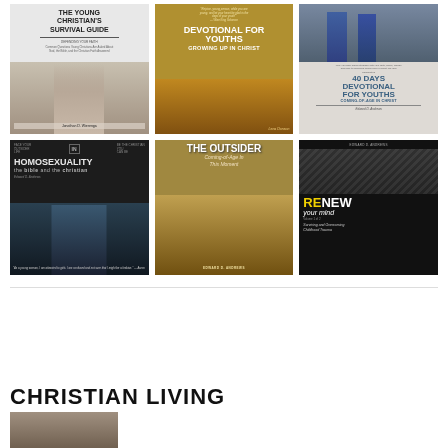[Figure (other): Grid of 6 book covers: Row 1: 'The Young Christian's Survival Guide', 'Devotional For Youths - Growing Up In Christ', '40 Days Devotional For Youths - Coming-of-Age In Christ'. Row 2: 'Homosexuality The Bible and the Christian', 'The Outsider - Coming-of-Age In This Moment', 'Renew Your Mind - Surviving and Overcoming Childhood Trauma'.]
CHRISTIAN LIVING
[Figure (photo): Partial book cover thumbnail at bottom left, partially cut off.]